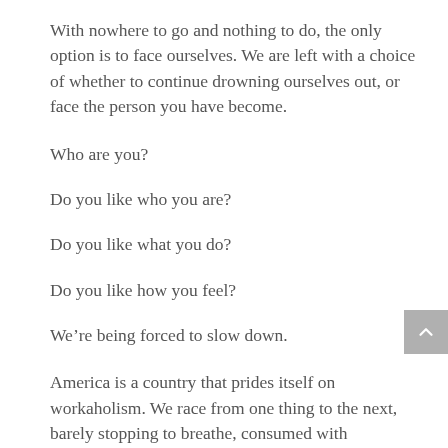With nowhere to go and nothing to do, the only option is to face ourselves. We are left with a choice of whether to continue drowning ourselves out, or face the person you have become.
Who are you?
Do you like who you are?
Do you like what you do?
Do you like how you feel?
We’re being forced to slow down.
America is a country that prides itself on workaholism. We race from one thing to the next, barely stopping to breathe, consumed with entertainment, survival, comfort, and for some, luxuries. We’ve worked hard to get where we are.